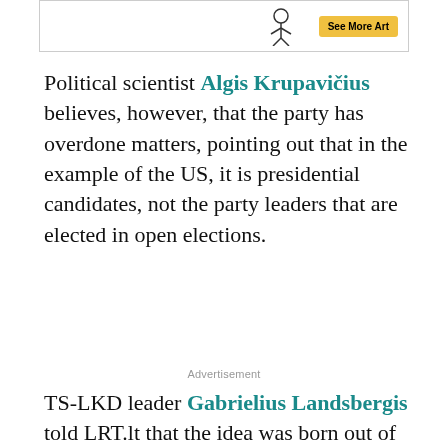[Figure (illustration): Partial advertisement banner with a sketch illustration and a yellow 'See More Art' button]
Political scientist Algis Krupavičius believes, however, that the party has overdone matters, pointing out that in the example of the US, it is presidential candidates, not the party leaders that are elected in open elections.
Advertisement
TS-LKD leader Gabrielius Landsbergis told LRT.lt that the idea was born out of analysing the good practice experience of Western democracies such as the USA or France, he notes that the aim is to demonstrate that the TS-LKD is not a closed off party, whose issues only interest its 16 thousand members and to involve a greater part of the country, people who care about the direction of the